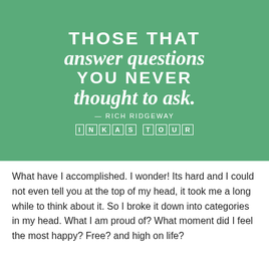[Figure (illustration): Green background quote image with white text reading 'THOSE THAT answer questions YOU NEVER thought to ask.' attributed to Rich Ridgeway, with INKAS TOUR logo in bordered letters at the bottom.]
What have I accomplished. I wonder! Its hard and I could not even tell you at the top of my head, it took me a long while to think about it. So I broke it down into categories in my head. What I am proud of? What moment did I feel the most happy? Free? and high on life?